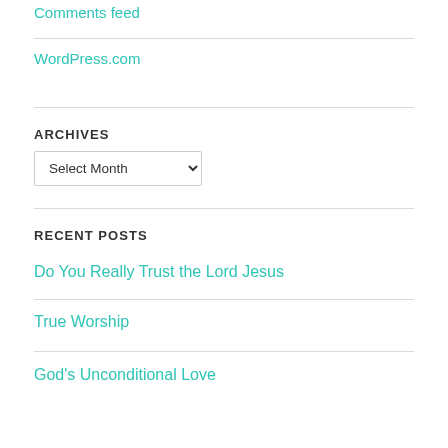Comments feed
WordPress.com
ARCHIVES
Select Month (dropdown)
RECENT POSTS
Do You Really Trust the Lord Jesus
True Worship
God's Unconditional Love